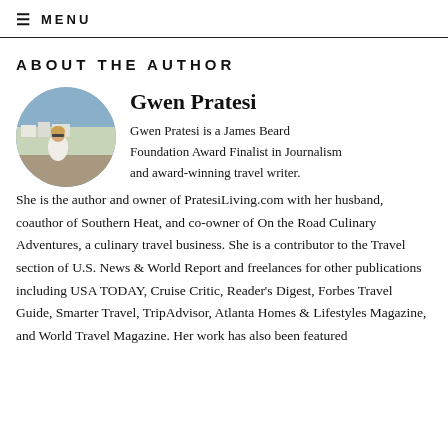≡ MENU
ABOUT THE AUTHOR
[Figure (photo): Circular portrait photo of Gwen Pratesi standing outdoors on a hillside with a scenic whitewashed town and mountains in the background, wearing a white dress.]
Gwen Pratesi
Gwen Pratesi is a James Beard Foundation Award Finalist in Journalism and award-winning travel writer. She is the author and owner of PratesiLiving.com with her husband, coauthor of Southern Heat, and co-owner of On the Road Culinary Adventures, a culinary travel business. She is a contributor to the Travel section of U.S. News & World Report and freelances for other publications including USA TODAY, Cruise Critic, Reader's Digest, Forbes Travel Guide, Smarter Travel, TripAdvisor, Atlanta Homes & Lifestyles Magazine, and World Travel Magazine. Her work has also been featured